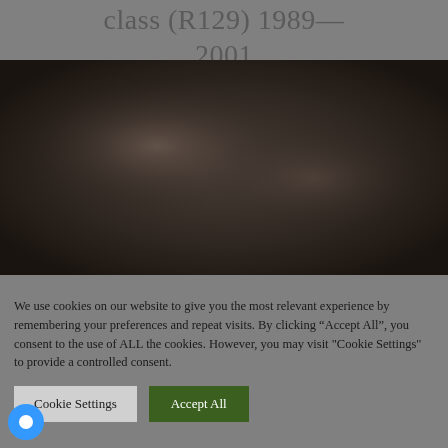class (R129) 1989—2001
[Figure (photo): Dark, blurred photograph of a car interior or exterior, predominantly dark brown/gray tones, low visibility image]
We use cookies on our website to give you the most relevant experience by remembering your preferences and repeat visits. By clicking “Accept All”, you consent to the use of ALL the cookies. However, you may visit "Cookie Settings" to provide a controlled consent.